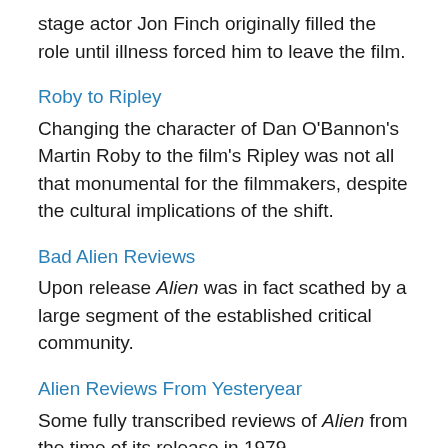stage actor Jon Finch originally filled the role until illness forced him to leave the film.
Roby to Ripley
Changing the character of Dan O'Bannon's Martin Roby to the film's Ripley was not all that monumental for the filmmakers, despite the cultural implications of the shift.
Bad Alien Reviews
Upon release Alien was in fact scathed by a large segment of the established critical community.
Alien Reviews From Yesteryear
Some fully transcribed reviews of Alien from the time of its release in 1979.
Ridley Scott's Alien II (or 'What He Wanted to Happen)
In 1984 Ridley Scott spoke about his ideas for